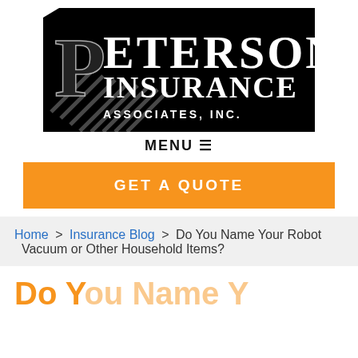[Figure (logo): Peterson Insurance Associates, Inc. logo — white text on black background with diagonal stripe design element]
MENU ☰
GET A QUOTE
Home > Insurance Blog > Do You Name Your Robot Vacuum or Other Household Items?
Do You Name Y…